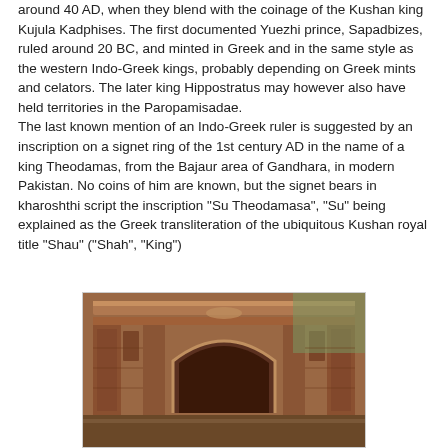around 40 AD, when they blend with the coinage of the Kushan king Kujula Kadphises. The first documented Yuezhi prince, Sapadbizes, ruled around 20 BC, and minted in Greek and in the same style as the western Indo-Greek kings, probably depending on Greek mints and celators. The later king Hippostratus may however also have held territories in the Paropamisadae.
The last known mention of an Indo-Greek ruler is suggested by an inscription on a signet ring of the 1st century AD in the name of a king Theodamas, from the Bajaur area of Gandhara, in modern Pakistan. No coins of him are known, but the signet bears in kharoshthi script the inscription "Su Theodamasa", "Su" being explained as the Greek transliteration of the ubiquitous Kushan royal title "Shau" ("Shah", "King")
[Figure (photo): Photograph of an ancient stone architectural structure with ornate carved facade, appears to be a temple or monument gateway with arched entrance and detailed relief carvings, reddish-brown stone.]